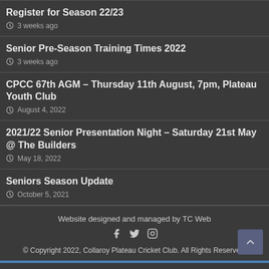Register for Season 22/23
3 weeks ago
Senior Pre-Season Training Times 2022
3 weeks ago
CPCC 67th AGM – Thursday 11th August, 7pm, Plateau Youth Club
August 4, 2022
2021/22 Senior Presentation Night – Saturday 21st May @ The Builders
May 18, 2022
Seniors Season Update
October 5, 2021
Website designed and managed by TC Web
© Copyright 2022, Collaroy Plateau Cricket Club. All Rights Reserved.